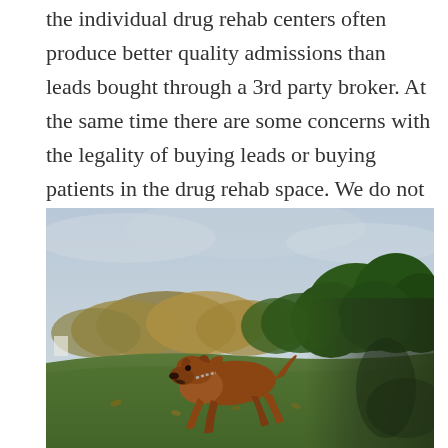the individual drug rehab centers often produce better quality admissions than leads bought through a 3rd party broker. At the same time there are some concerns with the legality of buying leads or buying patients in the drug rehab space. We do not sell leads. We do create lead generation programs for addiction treatment centers.
[Figure (photo): A brown Rhodesian Ridgeback dog running outdoors on grass, wearing a chain collar, with trees and an overcast sky in the background. The right side of the image has a blurred dark shadow element.]